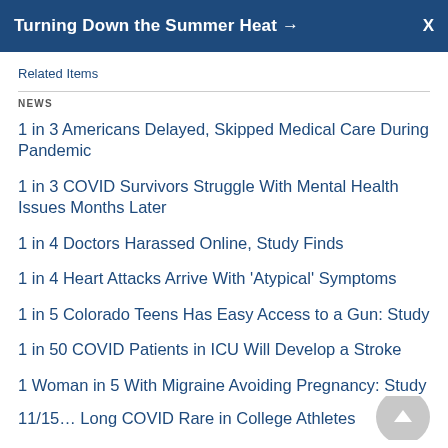Turning Down the Summer Heat →
Related Items
NEWS
1 in 3 Americans Delayed, Skipped Medical Care During Pandemic
1 in 3 COVID Survivors Struggle With Mental Health Issues Months Later
1 in 4 Doctors Harassed Online, Study Finds
1 in 4 Heart Attacks Arrive With 'Atypical' Symptoms
1 in 5 Colorado Teens Has Easy Access to a Gun: Study
1 in 50 COVID Patients in ICU Will Develop a Stroke
1 Woman in 5 With Migraine Avoiding Pregnancy: Study
11/15… Long COVID Rare in College Athletes